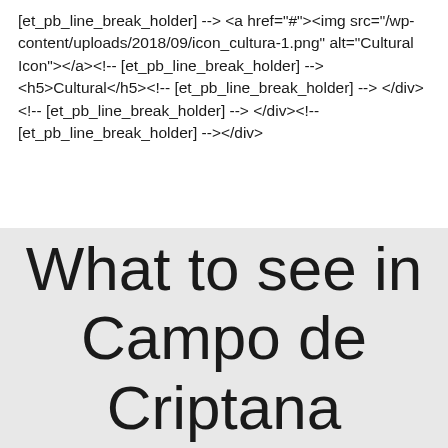[et_pb_line_break_holder] --> <a href="#"><img src="/wp-content/uploads/2018/09/icon_cultura-1.png" alt="Cultural Icon"></a><!-- [et_pb_line_break_holder] --> <h5>Cultural</h5><!-- [et_pb_line_break_holder] --> </div><!-- [et_pb_line_break_holder] --> </div><!-- [et_pb_line_break_holder] --></div>
What to see in Campo de Criptana